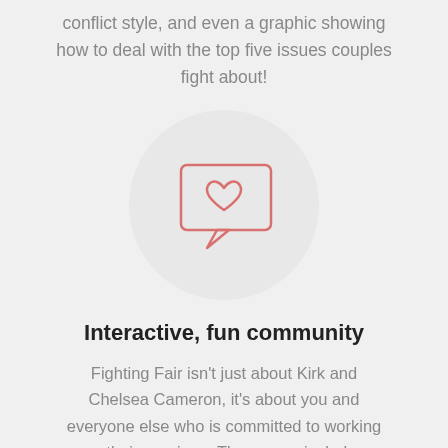conflict style, and even a graphic showing how to deal with the top five issues couples fight about!
[Figure (illustration): A circular light gray background with a pink outlined speech bubble containing a heart icon in the center]
Interactive, fun community
Fighting Fair isn't just about Kirk and Chelsea Cameron, it's about you and everyone else who is committed to working on their marriage. The course includes sections to comment, introduce yourself, and